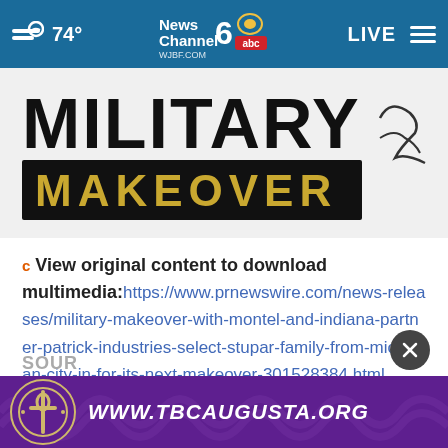74° News Channel 6 abc WJBF.COM LIVE
[Figure (photo): Military Makeover logo with bold black text MILITARY and gold text MAKEOVER on black background, with a signature/handwriting to the right]
c View original content to download multimedia:https://www.prnewswire.com/news-releases/military-makeover-with-montel-and-indiana-partner-patrick-industries-select-stupar-family-from-michigan-city-in-for-its-next-makeover-301528384.html
SOUR
[Figure (advertisement): Purple advertisement banner with TBC Augusta cross logo and text WWW.TBCAUGUSTA.ORG]